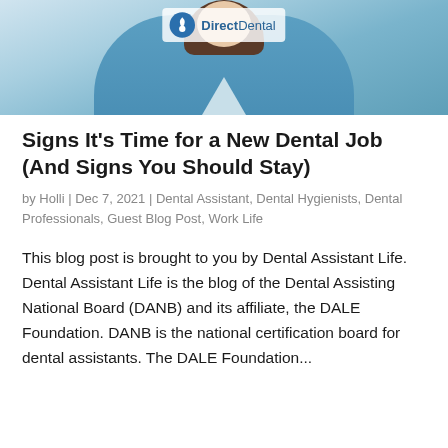[Figure (photo): Photo of a dental professional in blue scrubs at a dental office, with DirectDental logo visible at top]
Signs It's Time for a New Dental Job (And Signs You Should Stay)
by Holli | Dec 7, 2021 | Dental Assistant, Dental Hygienists, Dental Professionals, Guest Blog Post, Work Life
This blog post is brought to you by Dental Assistant Life. Dental Assistant Life is the blog of the Dental Assisting National Board (DANB) and its affiliate, the DALE Foundation. DANB is the national certification board for dental assistants. The DALE Foundation...